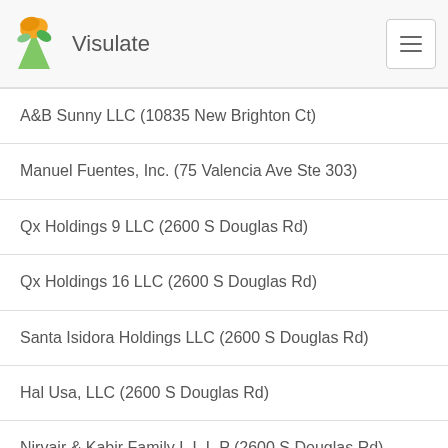Visulate
A&B Sunny LLC (10835 New Brighton Ct)
Manuel Fuentes, Inc. (75 Valencia Ave Ste 303)
Qx Holdings 9 LLC (2600 S Douglas Rd)
Qx Holdings 16 LLC (2600 S Douglas Rd)
Santa Isidora Holdings LLC (2600 S Douglas Rd)
Hal Usa, LLC (2600 S Douglas Rd)
Nirvair & Kabir Family L.L.L.P (2600 S Douglas Rd)
Ack Family Limited Liability Limited Partnership (2600 S Douglas Rd)
Tokaleya Family Limited Liability Limited Partnership (2600 S Douglas Rd)